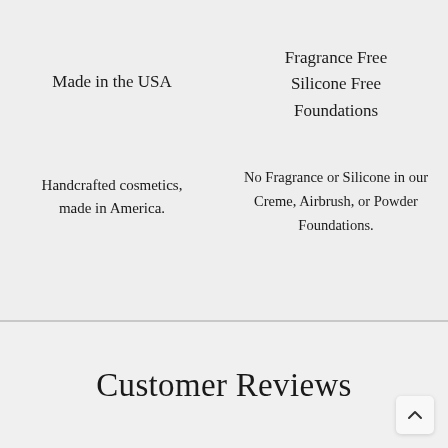Made in the USA
Fragrance Free
Silicone Free
Foundations
Handcrafted cosmetics, made in America.
No Fragrance or Silicone in our Creme, Airbrush, or Powder Foundations.
Customer Reviews